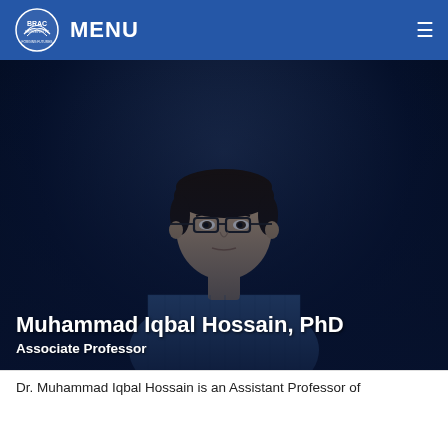MENU
[Figure (photo): Headshot photo of Muhammad Iqbal Hossain, a man wearing glasses and a blue striped shirt, against a dark background. Overlaid text shows his name and title.]
Muhammad Iqbal Hossain, PhD
Associate Professor
Dr. Muhammad Iqbal Hossain is an Assistant Professor of